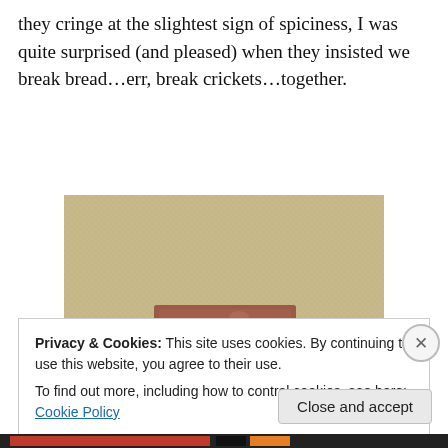they cringe at the slightest sign of spiciness, I was quite surprised (and pleased) when they insisted we break bread…err, break crickets…together.
[Figure (photo): A small rectangular brown block (cricket-containing food item) sitting on a beige textured surface.]
There's a cricket in there.
Privacy & Cookies: This site uses cookies. By continuing to use this website, you agree to their use.
To find out more, including how to control cookies, see here: Cookie Policy